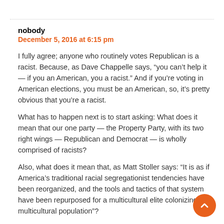nobody
December 5, 2016 at 6:15 pm
I fully agree; anyone who routinely votes Republican is a racist. Because, as Dave Chappelle says, “you can’t help it — if you an American, you a racist.” And if you’re voting in American elections, you must be an American, so, it’s pretty obvious that you’re a racist.
What has to happen next is to start asking: What does it mean that our one party — the Property Party, with its two right wings — Republican and Democrat — is wholly comprised of racists?
Also, what does it mean that, as Matt Stoller says: “It is as if America’s traditional racial segregationist tendencies have been reorganized, and the tools and tactics of that system have been repurposed for a multicultural elite colonizing a multicultural population”?
And what does it mean that, as Asad Haider in “Passing for Politics”?: